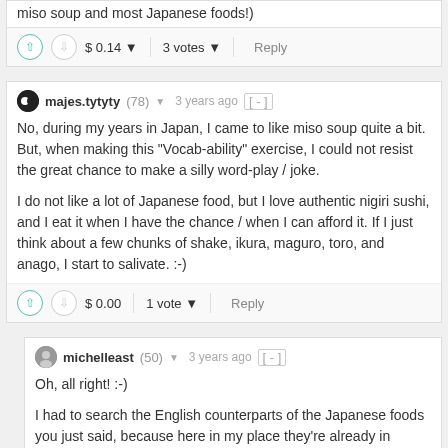miso soup and most Japanese foods!)
$ 0.14  3 votes  Reply
majes.tytyty (78) 3 years ago
No, during my years in Japan, I came to like miso soup quite a bit. But, when making this "Vocab-ability" exercise, I could not resist the great chance to make a silly word-play / joke.

I do not like a lot of Japanese food, but I love authentic nigiri sushi, and I eat it when I have the chance / when I can afford it. If I just think about a few chunks of shake, ikura, maguro, toro, and anago, I start to salivate. :-)
$ 0.00  1 vote  Reply
michelleast (50) 3 years ago
Oh, all right! :-)

I had to search the English counterparts of the Japanese foods you just said, because here in my place they're already in English, and I have to say that I LOVE shake (torched) and ikura sushi! I'm far away from the restaurant where I can get it, which kind of sucks.